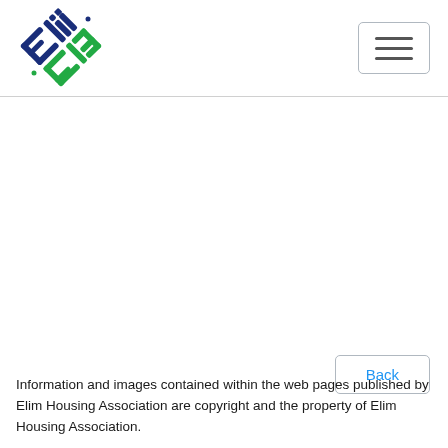[Figure (logo): Elim Housing Association logo — stylized 'Elim' text in dark blue and green interlocking diamond/square shapes]
[Figure (other): Hamburger menu button (three horizontal lines) with rounded rectangle border]
[Figure (other): Back button — rectangle border with 'Back' text in blue]
Information and images contained within the web pages published by Elim Housing Association are copyright and the property of Elim Housing Association.